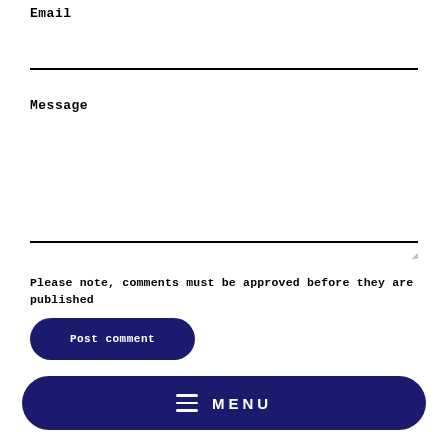Email
Message
Please note, comments must be approved before they are published
Post comment
MENU